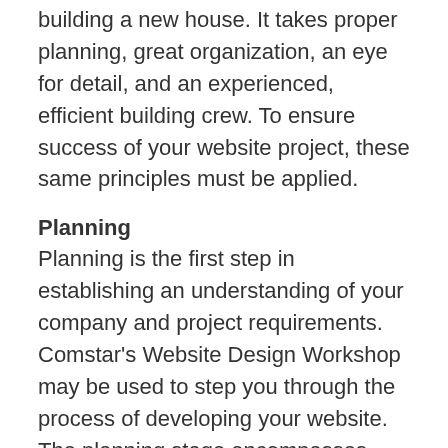building a new house. It takes proper planning, great organization, an eye for detail, and an experienced, efficient building crew. To ensure success of your website project, these same principles must be applied.
Planning
Planning is the first step in establishing an understanding of your company and project requirements. Comstar's Website Design Workshop may be used to step you through the process of developing your website. The planning stage encompasses your online philosophy